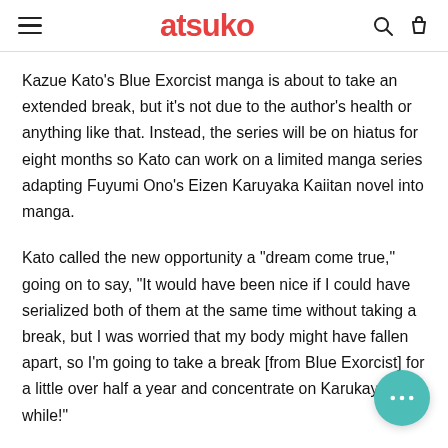atsuko
Kazue Kato's Blue Exorcist manga is about to take an extended break, but it's not due to the author's health or anything like that. Instead, the series will be on hiatus for eight months so Kato can work on a limited manga series adapting Fuyumi Ono's Eizen Karuyaka Kaiitan novel into manga.
Kato called the new opportunity a "dream come true," going on to say, "It would have been nice if I could have serialized both of them at the same time without taking a break, but I was worried that my body might have fallen apart, so I'm going to take a break [from Blue Exorcist] for a little over half a year and concentrate on Karukaya for a while!"
The Eizen Karukaya Kaiitan adaptation is set to kick off in the October issue of Jump SQ, which hits shelves in Japan this September. The series will run for around six months, telling a variety of short stories from the perspective of Ohata, who